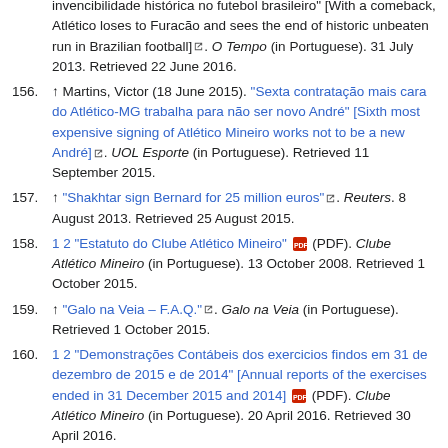(continuation) invencibilidade histórica no futebol brasileiro" [With a comeback, Atlético loses to Furacão and sees the end of historic unbeaten run in Brazilian football]. O Tempo (in Portuguese). 31 July 2013. Retrieved 22 June 2016.
156. ↑ Martins, Victor (18 June 2015). "Sexta contratação mais cara do Atlético-MG trabalha para não ser novo André" [Sixth most expensive signing of Atlético Mineiro works not to be a new André]. UOL Esporte (in Portuguese). Retrieved 11 September 2015.
157. ↑ "Shakhtar sign Bernard for 25 million euros". Reuters. 8 August 2013. Retrieved 25 August 2015.
158. 1 2 "Estatuto do Clube Atlético Mineiro" (PDF). Clube Atlético Mineiro (in Portuguese). 13 October 2008. Retrieved 1 October 2015.
159. ↑ "Galo na Veia – F.A.Q.". Galo na Veia (in Portuguese). Retrieved 1 October 2015.
160. 1 2 "Demonstrações Contábeis dos exercicios findos em 31 de dezembro de 2015 e de 2014" [Annual reports of the exercises ended in 31 December 2015 and 2014] (PDF). Clube Atlético Mineiro (in Portuguese). 20 April 2016. Retrieved 30 April 2016.
161. ↑ "Atlético-MG anuncia acordo com nova fornecedora de material esportivo" [Atlético Mineiro announces deal with new kit maker]